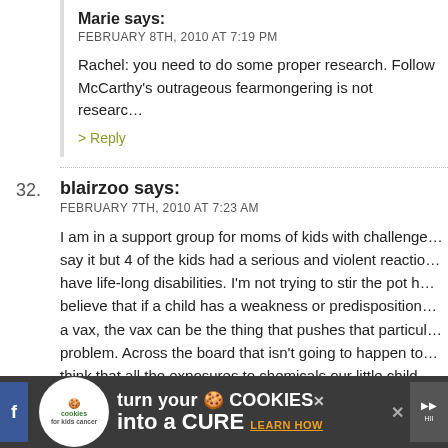Marie says:
FEBRUARY 8TH, 2010 AT 7:19 PM
Rachel: you need to do some proper research. Follow McCarthy's outrageous fearmongering is not researc…
> Reply
32. blairzoo says:
FEBRUARY 7TH, 2010 AT 7:23 AM
I am in a support group for moms of kids with challenge… say it but 4 of the kids had a serious and violent reactio… have life-long disabilities. I'm not trying to stir the pot h… believe that if a child has a weakness or predisposition … a vax, the vax can be the thing that pushes that particul… problem. Across the board that isn't going to happen to… think that all the exposures to chemicals our little child… with in their small, developing bodies is a factor.
If you want to vax your kids, I think the best bet is to fo…
[Figure (infographic): Advertisement banner: cookies for kids cancer - turn your cookies into a CURE LEARN HOW]